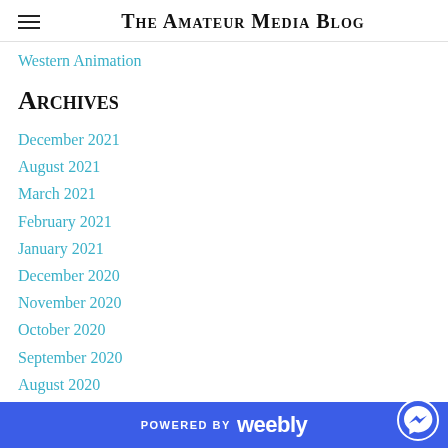The Amateur Media Blog
Western Animation
Archives
December 2021
August 2021
March 2021
February 2021
January 2021
December 2020
November 2020
October 2020
September 2020
August 2020
July 2020
May 2020
POWERED BY weebly